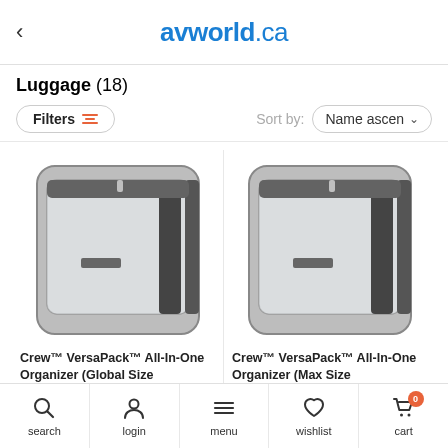avworld.ca
Luggage (18)
Filters  Sort by: Name ascend
[Figure (photo): Crew VersaPack All-In-One Organizer Global Size - grey packing cube with clear panel and zipper]
Crew™ VersaPack™ All-In-One Organizer (Global Size
[Figure (photo): Crew VersaPack All-In-One Organizer Max Size - grey packing cube with clear panel and zipper]
Crew™ VersaPack™ All-In-One Organizer (Max Size
search  login  menu  wishlist  cart